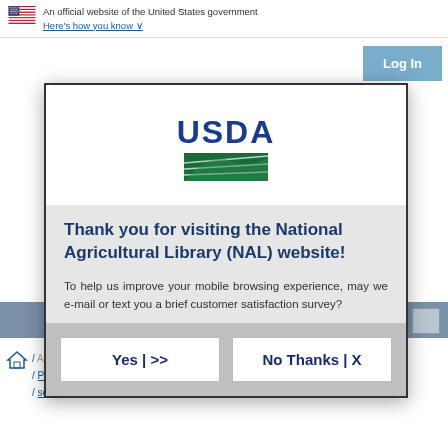An official website of the United States government
Here's how you know
[Figure (logo): USDA National Agricultural Library logo with green landscape graphic and blue USDA text]
Thank you for visiting the National Agricultural Library (NAL) website!
To help us improve your mobile browsing experience, may we e-mail or text you a brief customer satisfaction survey?
Yes | >>
No Thanks | X
Perez de Leon, Adalberto A. / Scoles, Glen A. / sequence analysis / Veterinary Pest Genomics Center